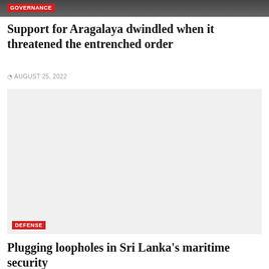[Figure (photo): Top partial image with dark tones, partially cropped at top of page]
GOVERNANCE
Support for Aragalaya dwindled when it threatened the entrenched order
AUGUST 25, 2022
[Figure (photo): Large gray/light image placeholder for article photo]
DEFENSE
Plugging loopholes in Sri Lanka's maritime security